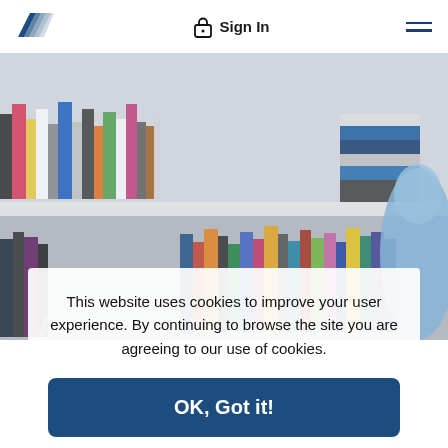[Figure (logo): Bank of America stylized flag/pinwheel logo in dark blue]
Sign In
[Figure (screenshot): Blurred photo of a person sitting in front of a bookshelf with colorful books on shelves]
This website uses cookies to improve your user experience. By continuing to browse the site you are agreeing to our use of cookies.
OK, Got it!